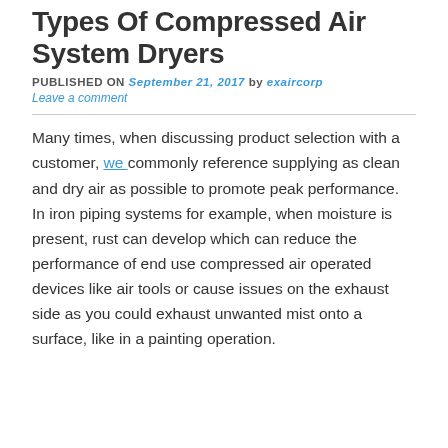Types Of Compressed Air System Dryers
PUBLISHED ON September 21, 2017 by exaircorp
Leave a comment
Many times, when discussing product selection with a customer, we commonly reference supplying as clean and dry air as possible to promote peak performance. In iron piping systems for example, when moisture is present, rust can develop which can reduce the performance of end use compressed air operated devices like air tools or cause issues on the exhaust side as you could exhaust unwanted mist onto a surface, like in a painting operation.